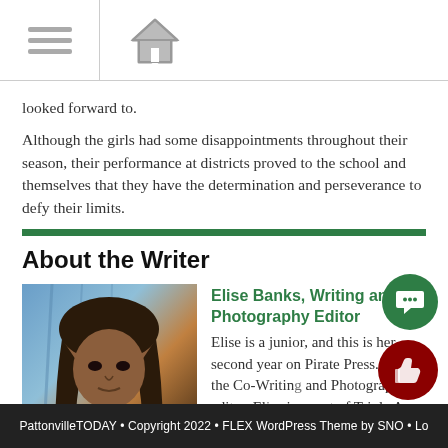Navigation bar with menu and home icons
looked forward to.
Although the girls had some disappointments throughout their season, their performance at districts proved to the school and themselves that they have the determination and perseverance to defy their limits.
About the Writer
[Figure (photo): Headshot photo of Elise Banks, a young woman with braids, against a blue background]
Elise Banks, Writing and Photography Editor
Elise is a junior, and this is her second year on Pirate Press. She is the Co-Writing and Photography editor. Elise is a part of Triple A.
PattonvilleTODAY • Copyright 2022 • FLEX WordPress Theme by SNO • Lo…